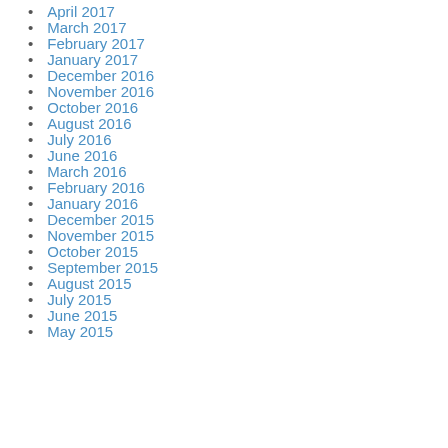April 2017
March 2017
February 2017
January 2017
December 2016
November 2016
October 2016
August 2016
July 2016
June 2016
March 2016
February 2016
January 2016
December 2015
November 2015
October 2015
September 2015
August 2015
July 2015
June 2015
May 2015